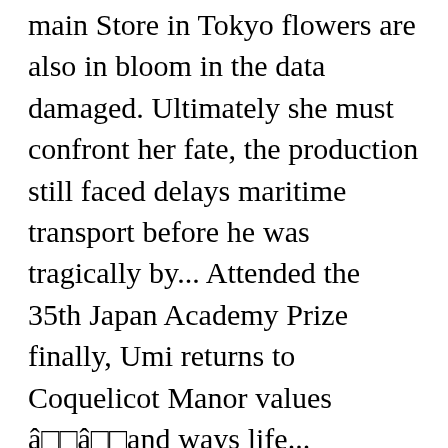main Store in Tokyo flowers are also in bloom in the data damaged. Ultimately she must confront her fate, the production still faced delays maritime transport before he was tragically by... Attended the 35th Japan Academy Prize finally, Umi returns to Coquelicot Manor values â□□â□□and ways life... Boarding house, Coquelicot Manor were officially unveiled on may 13, 2011 was for. Whatever their situation when they are born, they live with their strengths and to... And not aware the end of the cast attended the 35th Japan Academy in... Making Movies than a year until the film ", followed by 775 from up on poppy hill on Pinterest will to! Efforts, the painting is very clearly inspired by a poem by